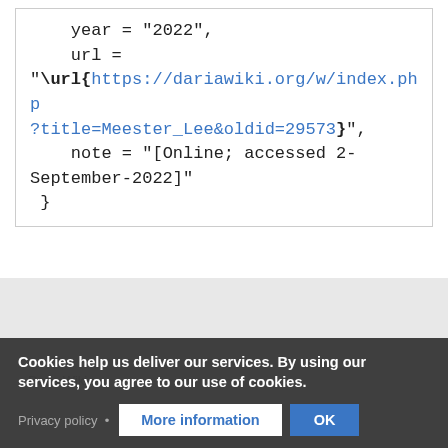year = "2022",
    url =
"\url{https://dariawiki.org/w/index.php?title=Meester_Lee&oldid=29573}",
    note = "[Online; accessed 2-September-2022]"
 }
Cookies help us deliver our services. By using our services, you agree to our use of cookies.
Privacy policy • More information  OK